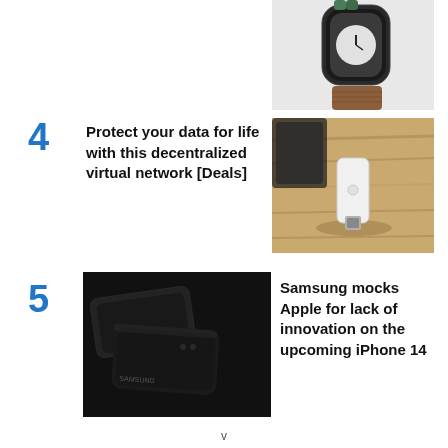[Figure (photo): Partial view of an Apple Watch with green band and brown leather band, white background]
4  Protect your data for life with this decentralized virtual network [Deals]
[Figure (photo): White USB dongle/flash drive on a wooden surface with another device in background]
5  Samsung mocks Apple for lack of innovation on the upcoming iPhone 14
[Figure (photo): Dark Samsung smartphones on dark background]
v